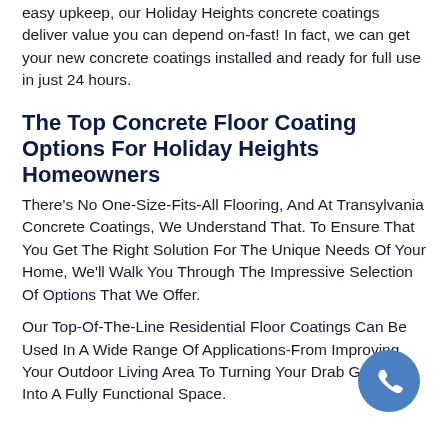easy upkeep, our Holiday Heights concrete coatings deliver value you can depend on-fast! In fact, we can get your new concrete coatings installed and ready for full use in just 24 hours.
The Top Concrete Floor Coating Options For Holiday Heights Homeowners
There's No One-Size-Fits-All Flooring, And At Transylvania Concrete Coatings, We Understand That. To Ensure That You Get The Right Solution For The Unique Needs Of Your Home, We'll Walk You Through The Impressive Selection Of Options That We Offer.
Our Top-Of-The-Line Residential Floor Coatings Can Be Used In A Wide Range Of Applications-From Improving Your Outdoor Living Area To Turning Your Drab Garage Into A Fully Functional Space.
[Figure (other): Blue circular phone call button in the bottom-right corner]